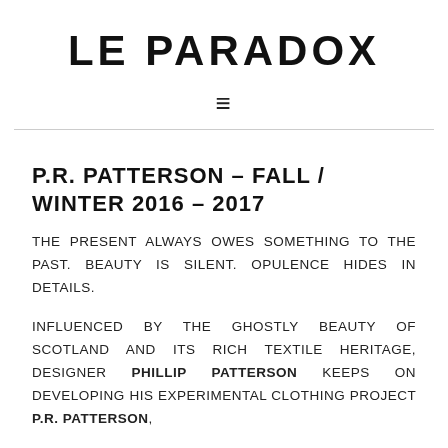LE PARADOX
P.R. PATTERSON – FALL / WINTER 2016 – 2017
THE PRESENT ALWAYS OWES SOMETHING TO THE PAST. BEAUTY IS SILENT. OPULENCE HIDES IN DETAILS.
INFLUENCED BY THE GHOSTLY BEAUTY OF SCOTLAND AND ITS RICH TEXTILE HERITAGE, DESIGNER PHILLIP PATTERSON KEEPS ON DEVELOPING HIS EXPERIMENTAL CLOTHING PROJECT P.R. PATTERSON,